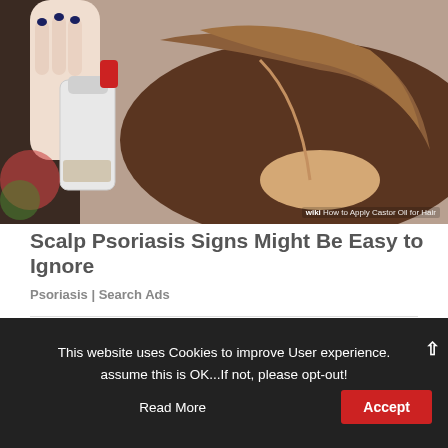[Figure (photo): A person spraying or applying a liquid product (likely castor oil) onto a woman's scalp/hair using a spray bottle. Woman has brown hair. Hands with red nails holding white spray bottle.]
Scalp Psoriasis Signs Might Be Easy to Ignore
Psoriasis | Search Ads
This website uses Cookies to improve User experience. assume this is OK...If not, please opt-out! Read More